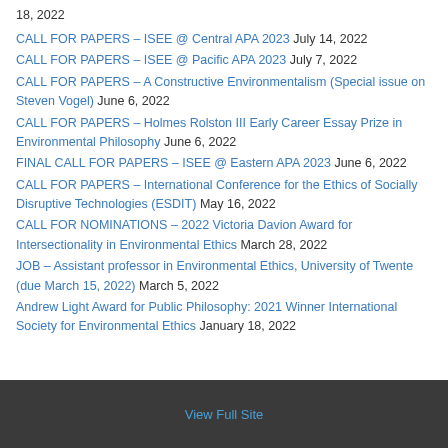18, 2022
CALL FOR PAPERS – ISEE @ Central APA 2023 July 14, 2022
CALL FOR PAPERS – ISEE @ Pacific APA 2023 July 7, 2022
CALL FOR PAPERS – A Constructive Environmentalism (Special issue on Steven Vogel) June 6, 2022
CALL FOR PAPERS – Holmes Rolston III Early Career Essay Prize in Environmental Philosophy June 6, 2022
FINAL CALL FOR PAPERS – ISEE @ Eastern APA 2023 June 6, 2022
CALL FOR PAPERS – International Conference for the Ethics of Socially Disruptive Technologies (ESDIT) May 16, 2022
CALL FOR NOMINATIONS – 2022 Victoria Davion Award for Intersectionality in Environmental Ethics March 28, 2022
JOB – Assistant professor in Environmental Ethics, University of Twente (due March 15, 2022) March 5, 2022
Andrew Light Award for Public Philosophy: 2021 Winner International Society for Environmental Ethics January 18, 2022
View Full Site